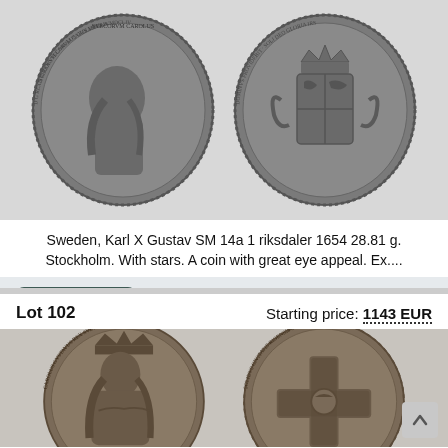[Figure (photo): Two views of a silver riksdaler coin from Sweden, Karl X Gustav, 1654 - obverse showing royal portrait and reverse showing royal coat of arms]
Sweden, Karl X Gustav SM 14a 1 riksdaler 1654 28.81 g. Stockholm. With stars. A coin with great eye appeal. Ex....
Watch this lot
Price realized: 7048 EUR
Lot 102
Starting price: 1143 EUR
[Figure (photo): Two views of another historical coin - obverse with royal portrait and reverse with cross/emblem design]